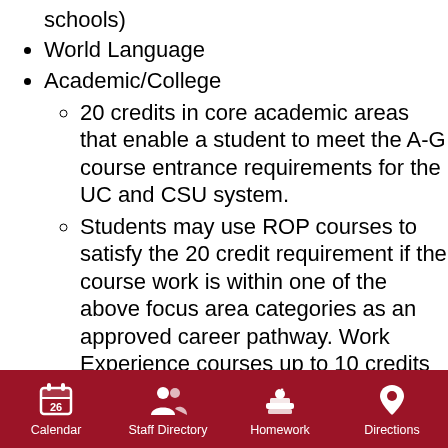schools)
World Language
Academic/College
20 credits in core academic areas that enable a student to meet the A-G course entrance requirements for the UC and CSU system.
Students may use ROP courses to satisfy the 20 credit requirement if the course work is within one of the above focus area categories as an approved career pathway. Work Experience courses up to 10 credits may count toward the focus area
Calendar  Staff Directory  Homework  Directions